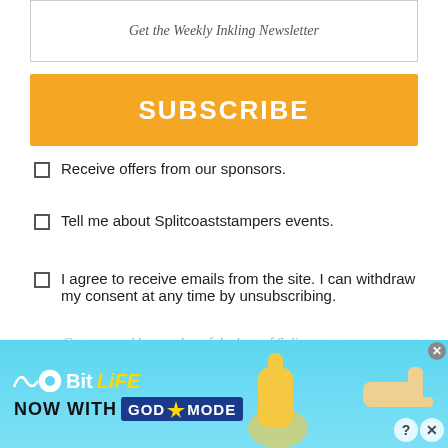Get the Weekly Inkling Newsletter
SUBSCRIBE
Receive offers from our sponsors.
Tell me about Splitcoaststampers events.
I agree to receive emails from the site. I can withdraw my consent at any time by unsubscribing.
Get our weekly roundup of the best of Splitcoaststampers.
Splitcoaststampers's privacy policy
[Figure (screenshot): BitLife NOW WITH GOD MODE advertisement banner with cyan/sky-blue background, illustrated hands, and yellow lightning bolt graphic]